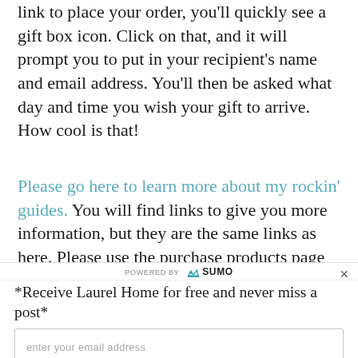link to place your order, you'll quickly see a gift box icon. Click on that, and it will prompt you to put in your recipient's name and email address. You'll then be asked what day and time you wish your gift to arrive. How cool is that!
Please go here to learn more about my rockin' guides. You will find links to give you more information, but they are the same links as here. Please use the purchase products page
[Figure (screenshot): Sumo popup overlay with 'Powered by SUMO' bar, email subscription form with title '*Receive Laurel Home for free and never miss a post*', email input field, and 'YES! GIMME THE SUBSCRIPTION!' button in teal.]